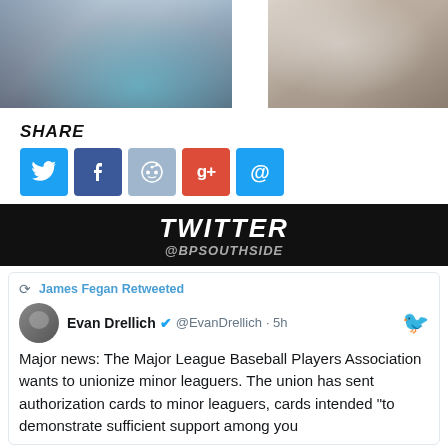[Figure (photo): Two baseball player action photos side by side with stylized/artistic treatment]
SHARE
[Figure (infographic): Share buttons: Twitter (blue bird), Facebook (f), Reddit, Google+, Email]
[Figure (infographic): Twitter banner with text TWITTER and handle @BPSOUTHSIDE]
James Fegan Retweeted
Evan Drellich @EvanDrellich · 5h
Major news: The Major League Baseball Players Association wants to unionize minor leaguers. The union has sent authorization cards to minor leaguers, cards intended "to demonstrate sufficient support among you